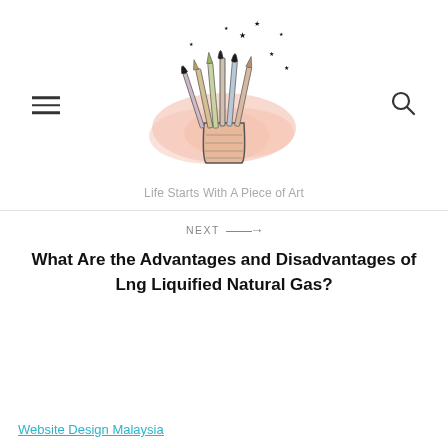[Figure (illustration): Illustration of art brushes and pencils in a cup with a pink watercolor splash background and small stars scattered above]
Life Starts With A Piece of Art
NEXT →
What Are the Advantages and Disadvantages of Lng Liquified Natural Gas?
Website Design Malaysia